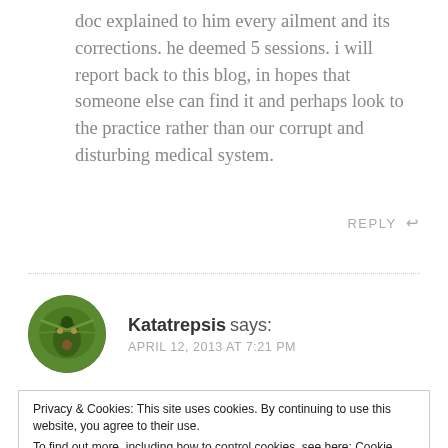doc explained to him every ailment and its corrections. he deemed 5 sessions. i will report back to this blog, in hopes that someone else can find it and perhaps look to the practice rather than our corrupt and disturbing medical system.
REPLY
Katatrepsis says:
APRIL 12, 2013 AT 7:21 PM
Privacy & Cookies: This site uses cookies. By continuing to use this website, you agree to their use.
To find out more, including how to control cookies, see here: Cookie Policy
Close and accept